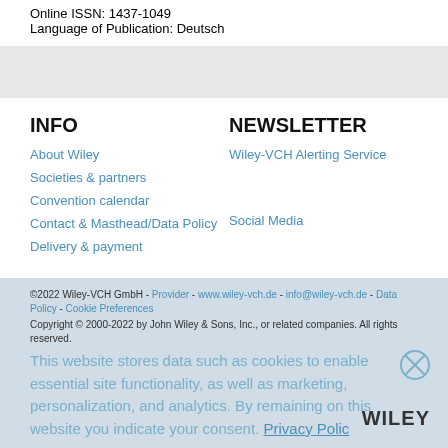Online ISSN: 1437-1049
Language of Publication: Deutsch
INFO
About Wiley
Societies & partners
Convention calendar
Contact & Masthead/Data Policy
Delivery & payment
NEWSLETTER
Wiley-VCH Alerting Service
Social Media
©2022 Wiley-VCH GmbH - Provider - www.wiley-vch.de - info@wiley-vch.de - Data Policy - Cookie Preferences
Copyright © 2000-2022 by John Wiley & Sons, Inc., or related companies. All rights reserved.
This website stores data such as cookies to enable essential site functionality, as well as marketing, personalization, and analytics. By remaining on this website you indicate your consent. Privacy Policy